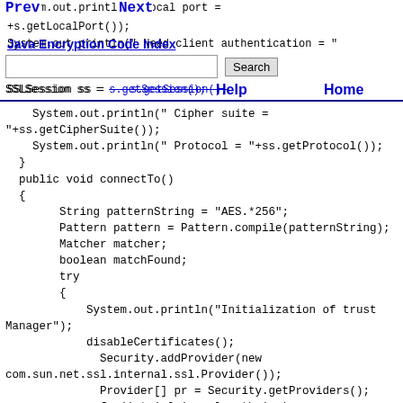Prev | Next | Java Encryption Code Index | Search | Help | Home
System.out.println(" Local port = "+s.getLocalPort());
    System.out.println(" Need client authentication = "
    SSLSession ss = s.getSession();
    System.out.println(" Cipher suite = "+ss.getCipherSuite());
    System.out.println(" Protocol = "+ss.getProtocol());
  }
  public void connectTo()
  {
        String patternString = "AES.*256";
        Pattern pattern = Pattern.compile(patternString);
        Matcher matcher;
        boolean matchFound;
        try
        {
            System.out.println("Initialization of trust Manager");
            disableCertificates();
              Security.addProvider(new com.sun.net.ssl.internal.ssl.Provider());
              Provider[] pr = Security.getProviders();
              for(int i=0;i<pr.length;i++)
              {